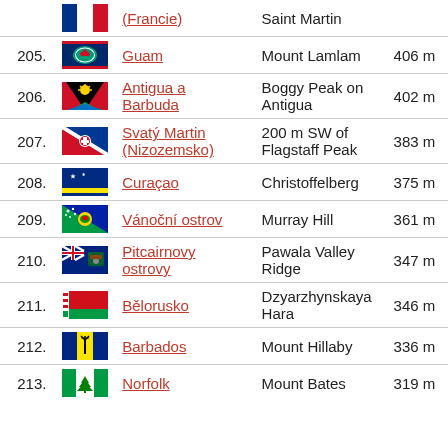| # | Flag | Country | Highest point | Height |
| --- | --- | --- | --- | --- |
|  |  | (Francie) | Saint Martin |  |
| 205. |  | Guam | Mount Lamlam | 406 m |
| 206. |  | Antigua a Barbuda | Boggy Peak on Antigua | 402 m |
| 207. |  | Svatý Martin (Nizozemsko) | 200 m SW of Flagstaff Peak | 383 m |
| 208. |  | Curaçao | Christoffelberg | 375 m |
| 209. |  | Vánoční ostrov | Murray Hill | 361 m |
| 210. |  | Pitcairnovy ostrovy | Pawala Valley Ridge | 347 m |
| 211. |  | Bělorusko | Dzyarzhynskaya Hara | 346 m |
| 212. |  | Barbados | Mount Hillaby | 336 m |
| 213. |  | Norfolk | Mount Bates | 319 m |